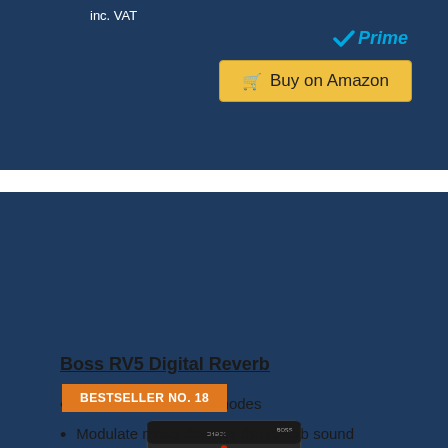inc. VAT
[Figure (logo): Amazon Prime checkmark logo with blue check and italic Prime text]
Buy on Amazon
BESTSELLER NO. 18
[Figure (photo): Boss RV5 Digital Reverb guitar pedal product photo on dark background]
Boss RV5 Digital Reverb
6 high-quality reverb modes
Modulate mode detunes the reverb sound